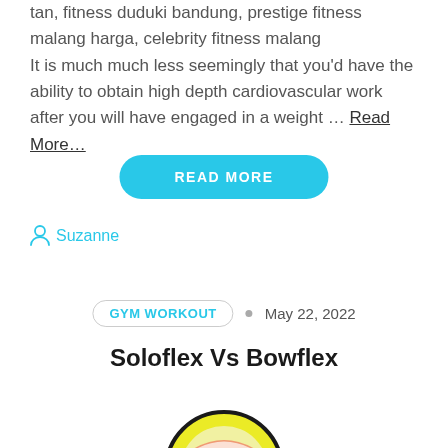tan, fitness duduki bandung, prestige fitness malang harga, celebrity fitness malang
It is much much less seemingly that you'd have the ability to obtain high depth cardiovascular work after you will have engaged in a weight … Read More…
READ MORE
Suzanne
GYM WORKOUT · May 22, 2022
Soloflex Vs Bowflex
[Figure (illustration): Illustration of a fitness/exercise equipment or character, partially visible at the bottom of the page with yellow and black colors]